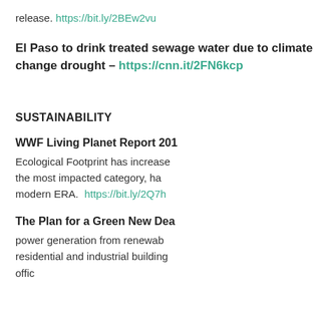release. https://bit.ly/2BEw2vu
El Paso to drink treated sewage water due to climate change drought – https://cnn.it/2FN6kcp
SUSTAINABILITY
WWF Living Planet Report 201...
Ecological Footprint has increased... the most impacted category, ha... modern ERA. https://bit.ly/2Q7h...
The Plan for a Green New Dea...
power generation from renewab... residential and industrial building... offic... manufactur... of t...
[Figure (infographic): Advertisement overlay for 'Give Something Back Workplace Solutions' - Purchasing with Purpose. Giving is our passion and happy customers are our business. Support Give Something Back when you purchase treezero multipurpose paper.]